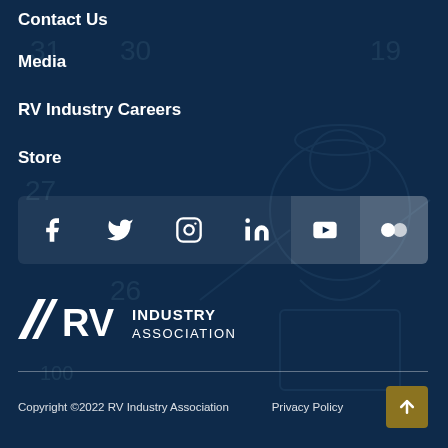Contact Us
Media
RV Industry Careers
Store
[Figure (infographic): Social media icon bar with Facebook, Twitter, Instagram, LinkedIn, YouTube, and Flickr icons on dark blue background]
[Figure (logo): RV Industry Association logo — white text with stylized RV graphic]
Copyright ©2022 RV Industry Association    Privacy Policy